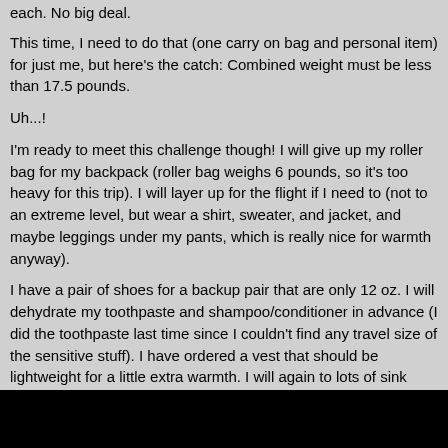each. No big deal.
This time, I need to do that (one carry on bag and personal item) for just me, but here's the catch: Combined weight must be less than 17.5 pounds.
Uh...!
I'm ready to meet this challenge though! I will give up my roller bag for my backpack (roller bag weighs 6 pounds, so it's too heavy for this trip). I will layer up for the flight if I need to (not to an extreme level, but wear a shirt, sweater, and jacket, and maybe leggings under my pants, which is really nice for warmth anyway).
I have a pair of shoes for a backup pair that are only 12 oz. I will dehydrate my toothpaste and shampoo/conditioner in advance (I did the toothpaste last time since I couldn't find any travel size of the sensitive stuff). I have ordered a vest that should be lightweight for a little extra warmth. I will again to lots of sink laundry (last trip I did sink laundry and hit up a laundromat a few times).
If anyone has a big silk scarf they want to send me, I'd happily take it 🙂
I'm going to be scouring the thrift stores for fat lady cashmere sweaters.
I can do this.